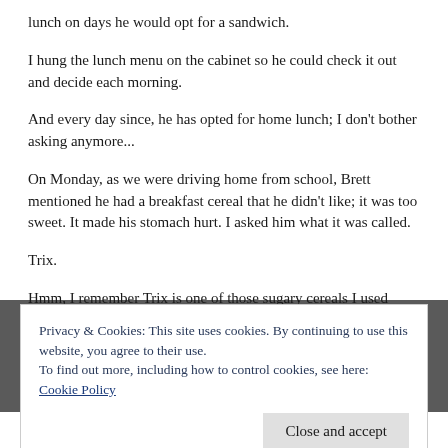lunch on days he would opt for a sandwich.
I hung the lunch menu on the cabinet so he could check it out and decide each morning.
And every day since, he has opted for home lunch; I don't bother asking anymore...
On Monday, as we were driving home from school, Brett mentioned he had a breakfast cereal that he didn't like; it was too sweet. It made his stomach hurt. I asked him what it was called.
Trix.
Hmm, I remember Trix is one of those sugary cereals I used
Privacy & Cookies: This site uses cookies. By continuing to use this website, you agree to their use.
To find out more, including how to control cookies, see here: Cookie Policy
remember. He named 4 or 5 different brands. I looked them